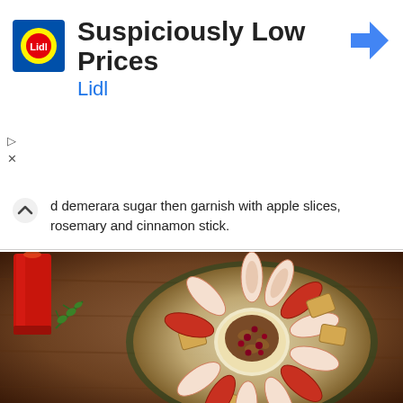[Figure (logo): Lidl advertisement banner with Lidl logo, title 'Suspiciously Low Prices', subtitle 'Lidl', and a navigation arrow icon]
d demerara sugar then garnish with apple slices, rosemary and cinnamon stick.
[Figure (photo): A festive cheese board arranged with apple slices fanned around a baked brie topped with nuts and cranberries, next to a red candle with pine sprigs, on a wooden surface]